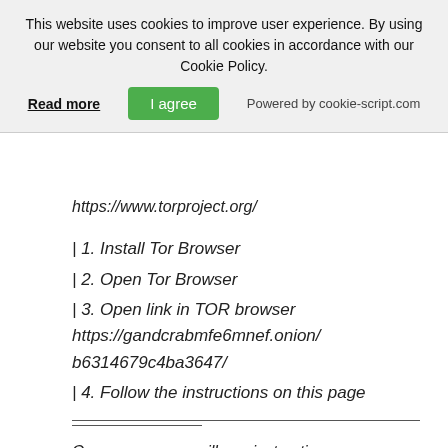This website uses cookies to improve user experience. By using our website you consent to all cookies in accordance with our Cookie Policy.
Read more | I agree | Powered by cookie-script.com
https://www.torproject.org/
| 1. Install Tor Browser
| 2. Open Tor Browser
| 3. Open link in TOR browser https://gandcrabmfe6mnef.onion/b6314679c4ba3647/
| 4. Follow the instructions on this page
On our page you will see instructions on payment and get the opportunity to decrypt 1 file for free.
ATTENTION!